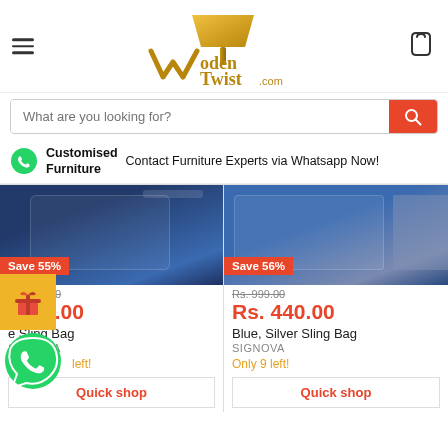WoodenTwist.com — site header with logo, hamburger menu, and cart icon
What are you looking for?
Customised Furniture  Contact Furniture Experts via Whatsapp Now!
[Figure (photo): Navy blue SIGNOVA sling bag product image with Save 55% badge]
Save 55%
Rs. 999.00
Rs. 449.00
e Sling Bag
SIGNOVA
left!
Quick shop
[Figure (photo): Blue and silver SIGNOVA sling bag product image with Save 56% badge]
Save 56%
Rs. 999.00
Rs. 440.00
Blue, Silver Sling Bag
SIGNOVA
Only 9 left!
Quick shop